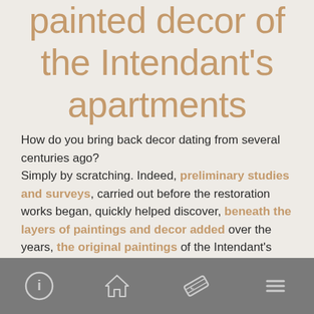painted decor of the Intendant's apartments
How do you bring back decor dating from several centuries ago? Simply by scratching. Indeed, preliminary studies and surveys, carried out before the restoration works began, quickly helped discover, beneath the layers of paintings and decor added over the years, the original paintings of the Intendant's apartments.
Equipped with technology from...